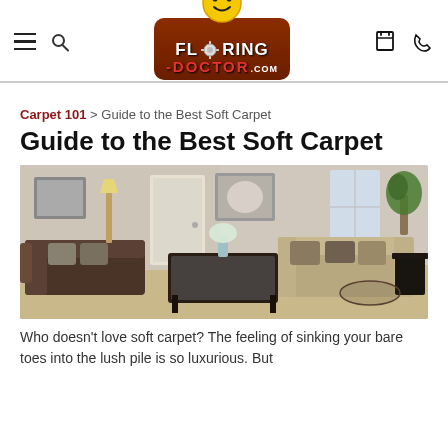Flooring-Doctor.com website header with logo, hamburger menu, search, calendar, and phone icons
Carpet 101 > Guide to the Best Soft Carpet
Guide to the Best Soft Carpet
[Figure (photo): Living room interior with soft beige carpet, brown sofas, glass coffee table, framed artwork on walls, and indoor plants]
Who doesn't love soft carpet? The feeling of sinking your bare toes into the lush pile is so luxurious. But